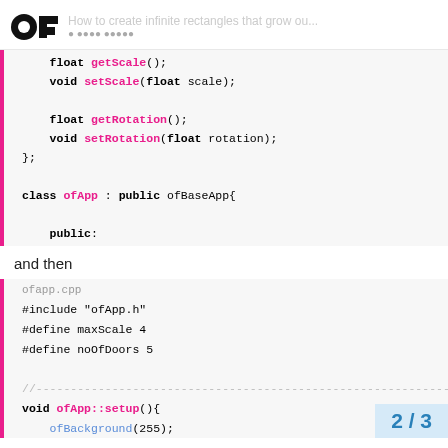How to create infinite rectangles that grow ou...
[Figure (screenshot): Code block showing C++ header file with float getScale(), void setScale(float scale), float getRotation(), void setRotation(float rotation), }; class ofApp : public ofBaseApp{ public: void setup();]
and then
[Figure (screenshot): Code block for ofapp.cpp with #include "ofApp.h", #define maxScale 4, #define noOfDoors 5, //--- dashed line, void ofApp::setup(){ ofBackground(255);]
2 / 3